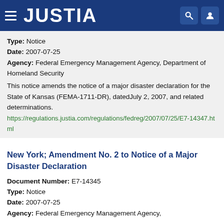JUSTIA
Type: Notice
Date: 2007-07-25
Agency: Federal Emergency Management Agency, Department of Homeland Security
This notice amends the notice of a major disaster declaration for the State of Kansas (FEMA-1711-DR), datedJuly 2, 2007, and related determinations.
https://regulations.justia.com/regulations/fedreg/2007/07/25/E7-14347.html
New York; Amendment No. 2 to Notice of a Major Disaster Declaration
Document Number: E7-14345
Type: Notice
Date: 2007-07-25
Agency: Federal Emergency Management Agency,